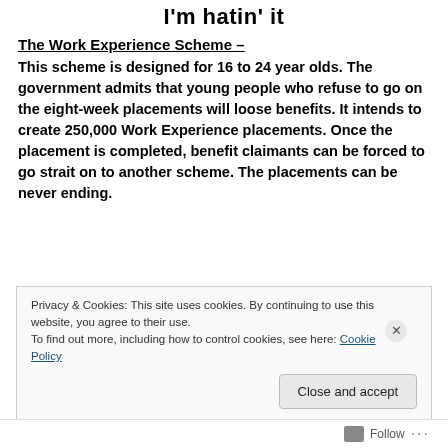I'm hatin' it
The Work Experience Scheme –
This scheme is designed for 16 to 24 year olds. The government admits that young people who refuse to go on the eight-week placements will loose benefits. It intends to create 250,000 Work Experience placements. Once the placement is completed, benefit claimants can be forced to go strait on to another scheme. The placements can be never ending.
Privacy & Cookies: This site uses cookies. By continuing to use this website, you agree to their use.
To find out more, including how to control cookies, see here: Cookie Policy
Follow ...